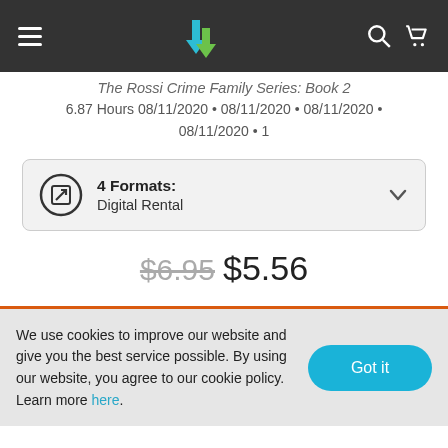Navigation bar with hamburger menu, logo, search and cart icons
The Rossi Crime Family Series: Book 2
6.87 Hours 08/11/2020 • 08/11/2020 • 08/11/2020 • 08/11/2020 • 1
4 Formats: Digital Rental
$6.95 $5.56
We use cookies to improve our website and give you the best service possible. By using our website, you agree to our cookie policy. Learn more here.